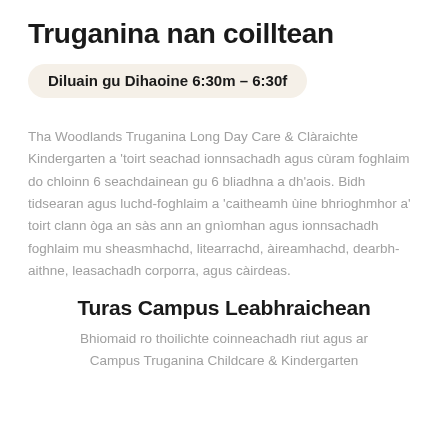Truganina nan coilltean
Diluain gu Dihaoine 6:30m – 6:30f
Tha Woodlands Truganina Long Day Care & Clàraichte Kindergarten a 'toirt seachad ionnsachadh agus cùram foghlaim do chloinn 6 seachdainean gu 6 bliadhna a dh'aois. Bidh tidsearan agus luchd-foghlaim a 'caitheamh ùine bhrioghmhor a' toirt clann òga an sàs ann an gnìomhan agus ionnsachadh foghlaim mu sheasmhachd, litearrachd, àireamhachd, dearbh-aithne, leasachadh corporra, agus càirdeas.
Turas Campus Leabhraichean
Bhiomaid ro thoilichte coinneachadh riut agus ar Campus Truganina Childcare & Kindergarten